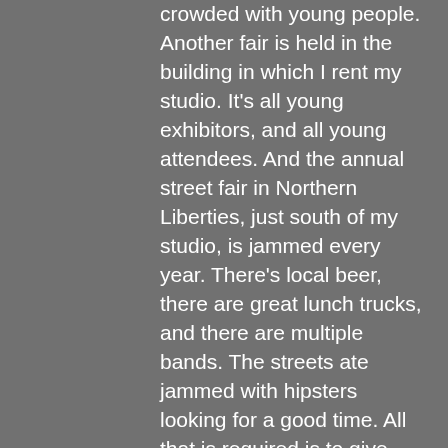crowded with young people. Another fair is held in the building in which I rent my studio. It's all young exhibitors, and all young attendees. And the annual street fair in Northern Liberties, just south of my studio, is jammed every year. There's local beer, there are great lunch trucks, and there are multiple bands. The streets ate jammed with hipsters looking for a good time. All that is required is to give them something that they recognize as their own; something they think is hip.
News flash: Bright red & blue pots with triangles scattered on them aren't hip. Lovely multicolored silk scarves aren't hip. Glass in swoopy shapes isn't hip. All this slickly professional craft looks